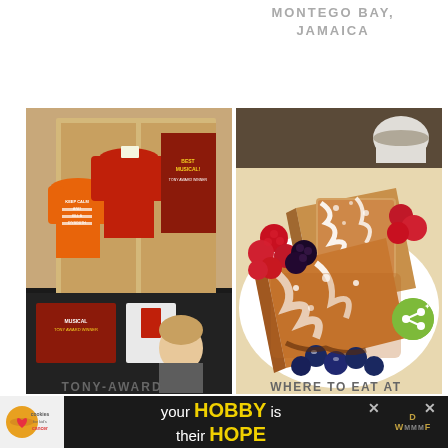MONTEGO BAY,
JAMAICA
[Figure (photo): Photo of theatrical merchandise display showing orange and red t-shirts with text 'KEEP CALM AND KILL A D'YSOUTH' and Broadway musical posters for 'Best Musical Tony Award Winner', with a person browsing merchandise at the bottom]
[Figure (photo): Photo of French toast with powdered sugar and cream cheese drizzle, served with fresh berries including raspberries, blackberries and blueberries on a white plate]
TONY-AWARD
WHERE TO EAT AT
[Figure (infographic): Advertisement banner: 'your HOBBY is their HOPE' with Cookies for Kid's Cancer logo on left, close buttons on right]